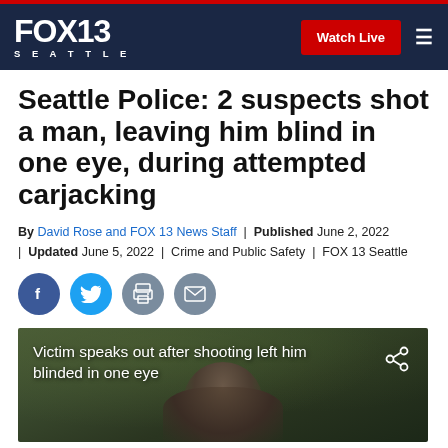FOX13 SEATTLE | Watch Live
Seattle Police: 2 suspects shot a man, leaving him blind in one eye, during attempted carjacking
By David Rose and FOX 13 News Staff | Published June 2, 2022 | Updated June 5, 2022 | Crime and Public Safety | FOX 13 Seattle
[Figure (screenshot): Social media share icons: Facebook, Twitter, Print, Email]
[Figure (screenshot): Video thumbnail showing a man being interviewed outdoors with trees in background. Overlay text reads: Victim speaks out after shooting left him blinded in one eye]